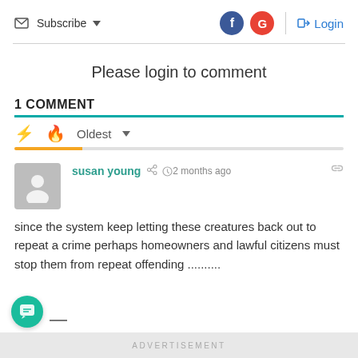Subscribe  |  Login
Please login to comment
1 COMMENT
Oldest
susan young  2 months ago
since the system keep letting these creatures back out to repeat a crime perhaps homeowners and lawful citizens must stop them from repeat offending ..........
ADVERTISEMENT